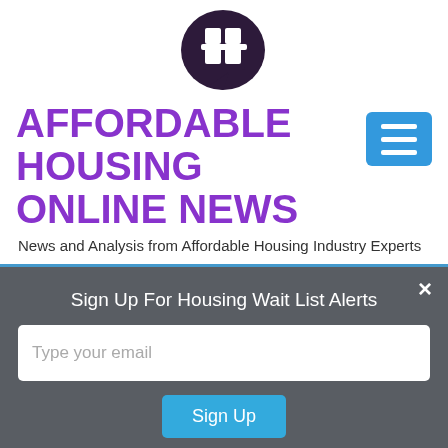[Figure (logo): Affordable Housing Online logo: dark purple speech bubble with a house/grid icon inside]
AFFORDABLE HOUSING ONLINE NEWS
News and Analysis from Affordable Housing Industry Experts
[Figure (other): Blue hamburger menu button with three horizontal white lines]
Sign Up For Housing Wait List Alerts
Type your email
Sign Up
×